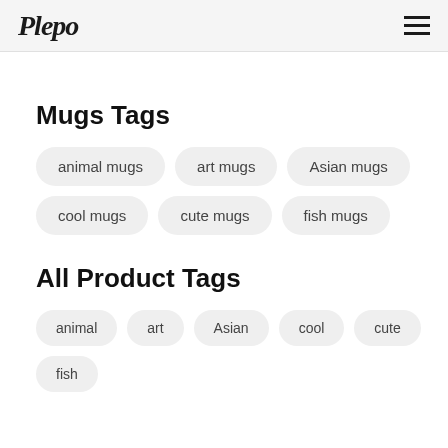Plepo
Mugs Tags
animal mugs
art mugs
Asian mugs
cool mugs
cute mugs
fish mugs
All Product Tags
animal
art
Asian
cool
cute
fish